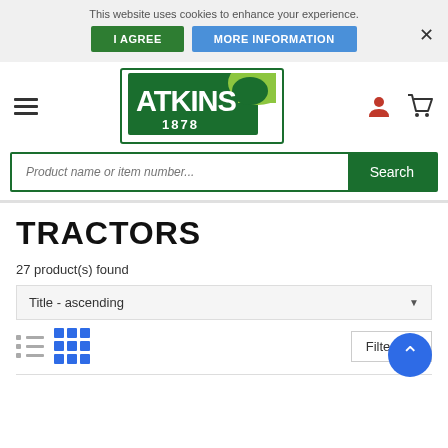This website uses cookies to enhance your experience.
I AGREE
MORE INFORMATION
[Figure (logo): Atkins 1878 company logo — green rectangular border with white text ATKINS 1878 and a green leaf accent]
Product name or item number...
Search
TRACTORS
27 product(s) found
Title - ascending
Filters